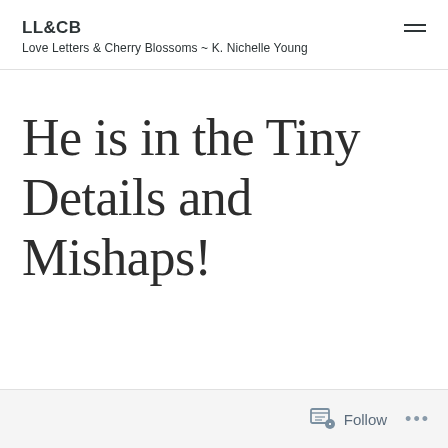LL&CB
Love Letters & Cherry Blossoms ~ K. Nichelle Young
He is in the Tiny Details and Mishaps!
Follow ...